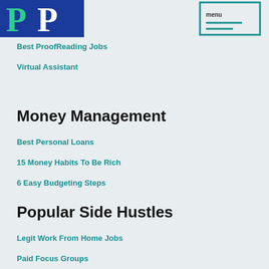[Figure (logo): PP logo with green and blue letters on blue background]
[Figure (other): Menu icon (hamburger/lines) in a teal outlined box]
Best ProofReading Jobs
Virtual Assistant
Money Management
Best Personal Loans
15 Money Habits To Be Rich
6 Easy Budgeting Steps
Popular Side Hustles
Legit Work From Home Jobs
Paid Focus Groups
Online Surveys